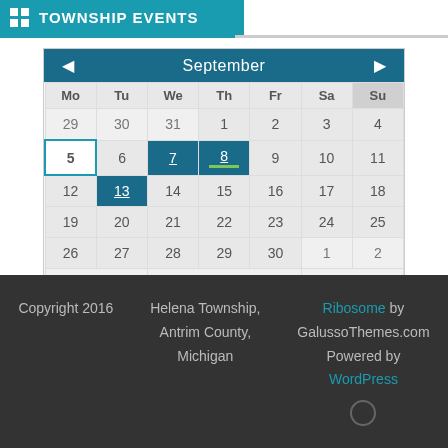TOWNSHIP EVENTS
[Figure (other): September calendar widget showing Mo-Su columns, dates 29-2 spanning Aug-Sep-Oct, with today marker on 5, event markers on 7, 8, 13, and year labels 2021, 2022, 2023 at bottom]
Copyright 2016  |  Helena Township, Antrim County, Michigan  |  Ribosome by GalussoThemes.com  Powered by WordPress